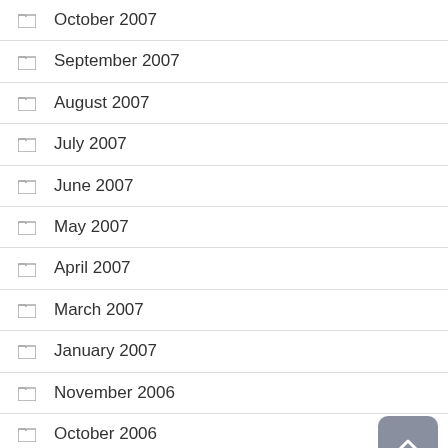October 2007
September 2007
August 2007
July 2007
June 2007
May 2007
April 2007
March 2007
January 2007
November 2006
October 2006
September 2006